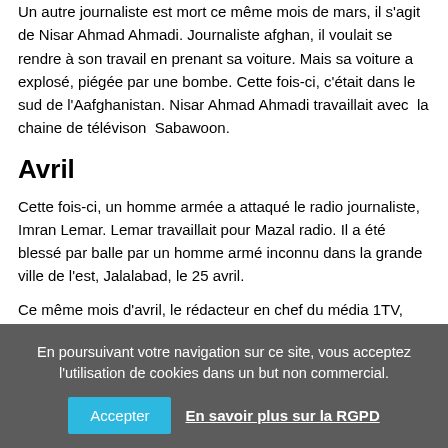Un autre journaliste est mort ce même mois de mars, il s'agit de Nisar Ahmad Ahmadi. Journaliste afghan, il voulait se rendre à son travail en prenant sa voiture. Mais sa voiture a explosé, piégée par une bombe. Cette fois-ci, c'était dans le sud de l'Aafghanistan. Nisar Ahmad Ahmadi travaillait avec  la chaine de télévison  Sabawoon.
Avril
Cette fois-ci, un homme armée a attaqué le radio journaliste, Imran Lemar. Lemar travaillait pour Mazal radio. Il a été blessé par balle par un homme armé inconnu dans la grande ville de l'est, Jalalabad, le 25 avril.
Ce même mois d'avril, le rédacteur en chef du média 1TV,
En poursuivant votre navigation sur ce site, vous acceptez l'utilisation de cookies dans un but non commercial.